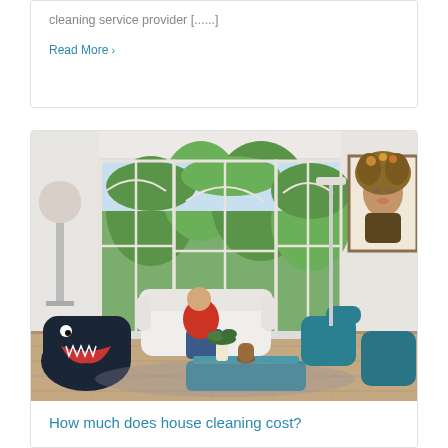cleaning service provider [......]
Read More >
[Figure (photo): Bright living room with large French windows, a woman sitting on a white sofa in a red top and blue jeans, teal/blue furniture, a decorative portrait painting on the right wall, a shark novelty chair in the foreground, and plants on a coffee table.]
How much does house cleaning cost?